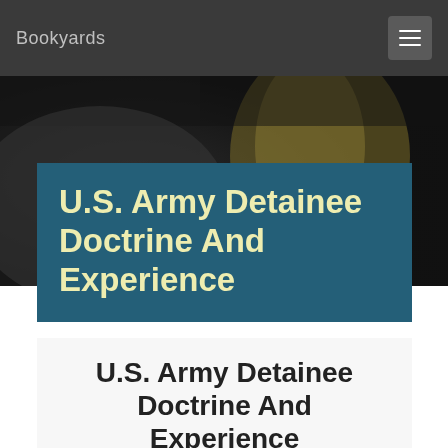Bookyards
[Figure (photo): Dark blurred background photo with muted tones of grey, black, and olive/gold, suggesting an interior or outdoor scene out of focus.]
U.S. Army Detainee Doctrine And Experience
U.S. Army Detainee Doctrine And Experience